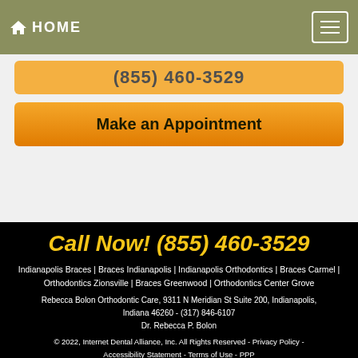HOME
(855) 460-3529
Make an Appointment
Call Now! (855) 460-3529
Indianapolis Braces | Braces Indianapolis | Indianapolis Orthodontics | Braces Carmel | Orthodontics Zionsville | Braces Greenwood | Orthodontics Center Grove
Rebecca Bolon Orthodontic Care, 9311 N Meridian St Suite 200, Indianapolis, Indiana 46260 - (317) 846-6107
Dr. Rebecca P. Bolon
© 2022, Internet Dental Alliance, Inc. All Rights Reserved - Privacy Policy - Accessibility Statement - Terms of Use - PPP